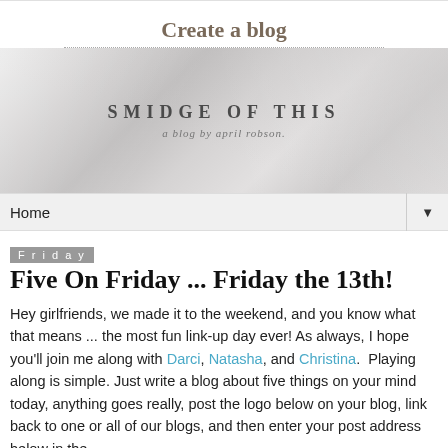Create a blog
[Figure (illustration): Blog banner with marble/grey texture background showing 'SMIDGE OF THIS - a blog by april robson']
Home
Friday
Five On Friday ... Friday the 13th!
Hey girlfriends, we made it to the weekend, and you know what that means ... the most fun link-up day ever! As always, I hope you'll join me along with Darci, Natasha, and Christina.  Playing along is simple. Just write a blog about five things on your mind today, anything goes really, post the logo below on your blog, link back to one or all of our blogs, and then enter your post address below in the